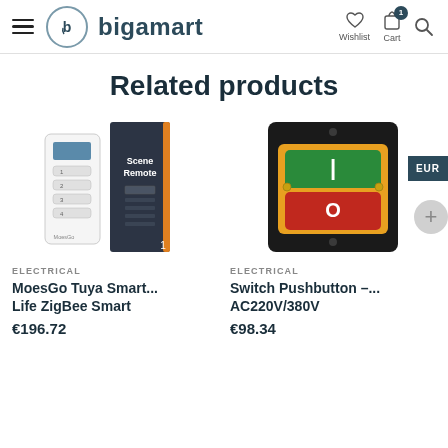bigamart — Wishlist, Cart, Search
Related products
[Figure (photo): MoesGo Tuya Smart Scene Remote product with box packaging — a white smart remote with numbered buttons and a dark box labeled 'Scene Remote']
ELECTRICAL
MoesGo Tuya Smart... Life ZigBee Smart
€196.72
[Figure (photo): Switch Pushbutton industrial control box — black housing with yellow panel containing one green button labeled I and one red button labeled O]
ELECTRICAL
Switch Pushbutton –... AC220V/380V
€98.34